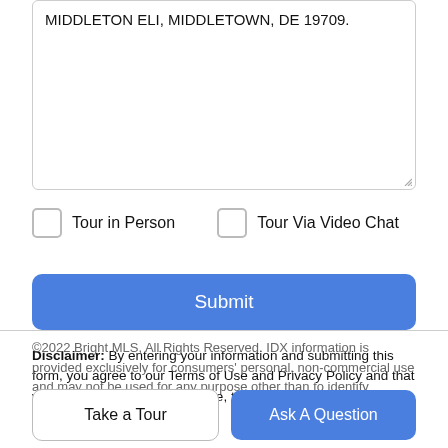MIDDLETON ELI, MIDDLETOWN, DE 19709.
Tour in Person
Tour Via Video Chat
Submit
Disclaimer: By entering your information and submitting this form, you agree to our Terms of Use and Privacy Policy and that you may be contacted by phone, text message and email about your inquiry.
©2022 Bright MLS, All Rights Reserved. IDX information is provided exclusively for consumers' personal, non-commercial use and may not be used for any purpose other than to identify
Take a Tour
Ask A Question